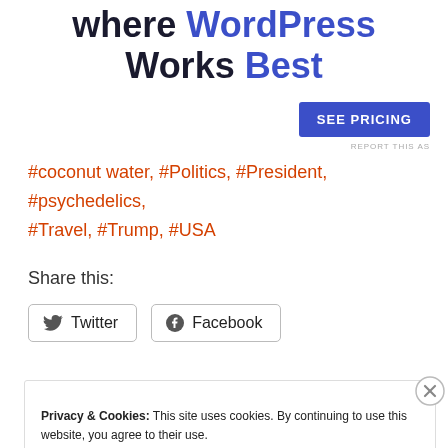where WordPress Works Best
SEE PRICING
REPORT THIS AS
#coconut water, #Politics, #President, #psychedelics, #Travel, #Trump, #USA
Share this:
Twitter  Facebook
Privacy & Cookies: This site uses cookies. By continuing to use this website, you agree to their use.
To find out more, including how to control cookies, see here: Cookie Policy
Close and accept